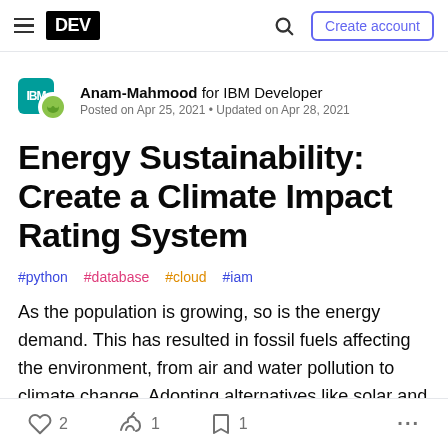DEV — Create account
Anam-Mahmood for IBM Developer
Posted on Apr 25, 2021 • Updated on Apr 28, 2021
Energy Sustainability: Create a Climate Impact Rating System
#python #database #cloud #iam
As the population is growing, so is the energy demand. This has resulted in fossil fuels affecting the environment, from air and water pollution to climate change. Adopting alternatives like solar and wind
2  1  1  ...